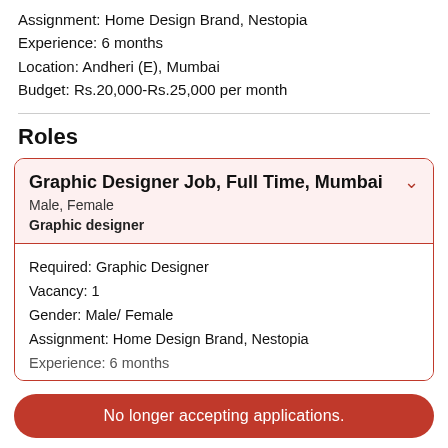Assignment: Home Design Brand, Nestopia
Experience: 6 months
Location: Andheri (E), Mumbai
Budget: Rs.20,000-Rs.25,000 per month
Roles
Graphic Designer Job, Full Time, Mumbai
Male, Female
Graphic designer
Required: Graphic Designer
Vacancy: 1
Gender: Male/ Female
Assignment: Home Design Brand, Nestopia
Experience: 6 months
No longer accepting applications.